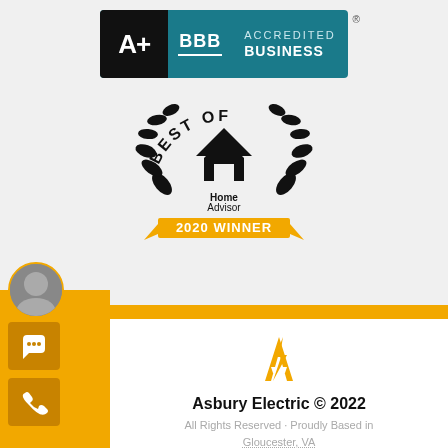[Figure (logo): BBB A+ Accredited Business badge with black A+ on left, teal background with BBB logo and ACCREDITED BUSINESS text]
[Figure (logo): Best of HomeAdvisor 2020 Winner badge with laurel wreath and orange ribbon]
[Figure (logo): Asbury Electric lightning bolt letter A logo in gold/orange]
Asbury Electric © 2022
All Rights Reserved · Proudly Based in Gloucester, VA
24/7 EMERGENCY SERVICE
Home   Services   Service Areas